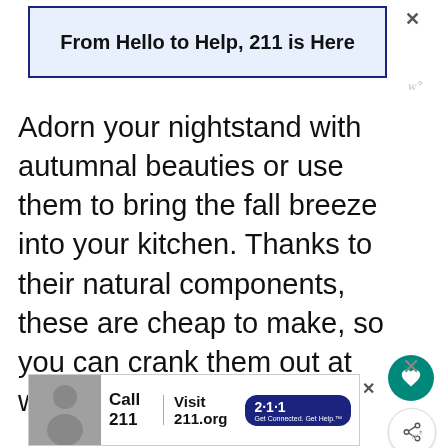[Figure (screenshot): Advertisement banner: 'From Hello to Help, 211 is Here' in a blue-bordered light blue box with a close X button]
Adorn your nightstand with autumnal beauties or use them to bring the fall breeze into your kitchen. Thanks to their natural components, these are cheap to make, so you can crank them out at will!
This is a great DIY project for teenagers
[Figure (screenshot): Advertisement banner at bottom: Child photo with 'Call 211 | Visit 211.org' and 2-1-1 pill logo]